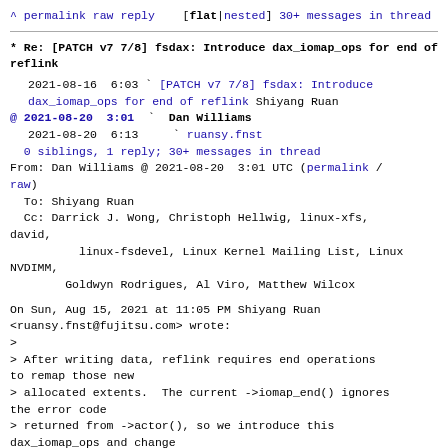^ permalink raw reply [flat|nested] 30+ messages in thread
* Re: [PATCH v7 7/8] fsdax: Introduce dax_iomap_ops for end of reflink
2021-08-16 6:03 ` [PATCH v7 7/8] fsdax: Introduce dax_iomap_ops for end of reflink Shiyang Ruan
@ 2021-08-20 3:01 ` Dan Williams
  2021-08-20 6:13   ` ruansy.fnst
  0 siblings, 1 reply; 30+ messages in thread
From: Dan Williams @ 2021-08-20 3:01 UTC (permalink / raw)
  To: Shiyang Ruan
  Cc: Darrick J. Wong, Christoph Hellwig, linux-xfs, david,
          linux-fsdevel, Linux Kernel Mailing List, Linux NVDIMM,
          Goldwyn Rodrigues, Al Viro, Matthew Wilcox
On Sun, Aug 15, 2021 at 11:05 PM Shiyang Ruan <ruansy.fnst@fujitsu.com> wrote:
>
> After writing data, reflink requires end operations to remap those new
> allocated extents.  The current ->iomap_end() ignores the error code
> returned from ->actor(), so we introduce this dax_iomap_ops and change
> the dax_iomap_*() interfaces to do this job.